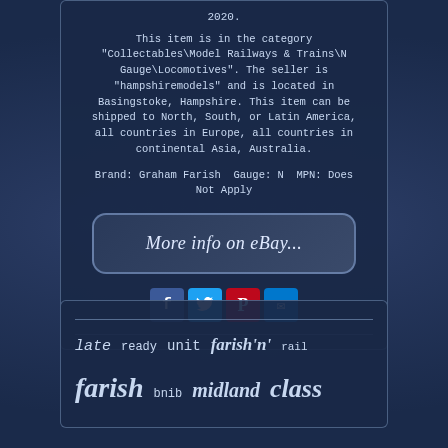2020.
This item is in the category "Collectables\Model Railways & Trains\N Gauge\Locomotives". The seller is "hampshiremodels" and is located in Basingstoke, Hampshire. This item can be shipped to North, South, or Latin America, all countries in Europe, all countries in continental Asia, Australia.
Brand: Graham Farish Gauge: N MPN: Does Not Apply
[Figure (other): eBay listing button with text 'More info on eBay...']
[Figure (other): Social share icons: Facebook, Twitter, Pinterest, Email]
late  ready  unit  farish 'n'  rail
farish  bnib  midland  class